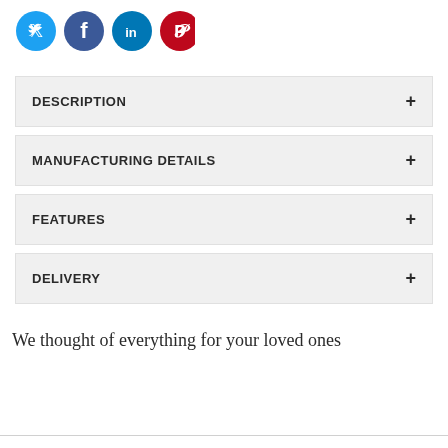[Figure (illustration): Social media icons: Twitter (blue circle), Facebook (blue circle), LinkedIn (blue circle), Pinterest (red circle)]
DESCRIPTION +
MANUFACTURING DETAILS +
FEATURES +
DELIVERY +
We thought of everything for your loved ones